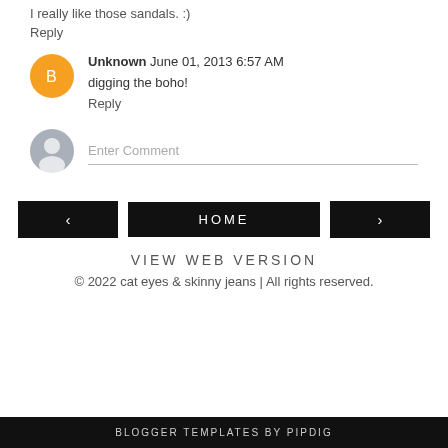I really like those sandals. :)
Reply
Unknown  June 01, 2013 6:57 AM
digging the boho!
Reply
Enter Comment
‹
HOME
›
VIEW WEB VERSION
© 2022 cat eyes & skinny jeans | All rights reserved.
BLOGGER TEMPLATES BY pipdig